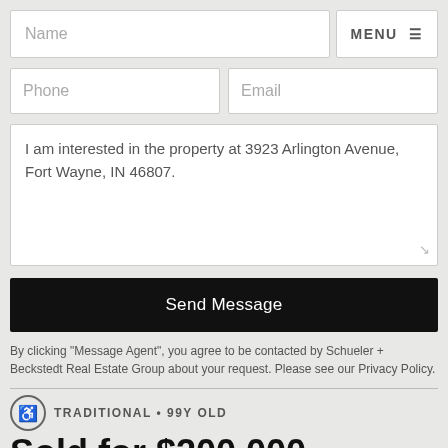Name
MENU ≡
Phone
Email
I am interested in the property at 3923 Arlington Avenue, Fort Wayne, IN 46807.
Send Message
By clicking "Message Agent", you agree to be contacted by Schueler + Beckstedt Real Estate Group about your request. Please see our Privacy Policy.
TRADITIONAL • 99Y OLD
Sold for $200,000